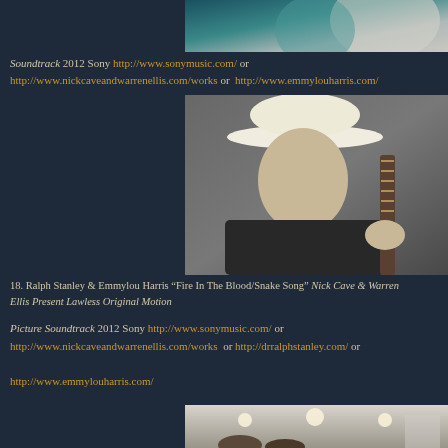[Figure (photo): Partial photo of two people, teal/grey tones, cropped at top]
Soundtrack 2012 Sony http://www.sonymusic.com/ or http://www.nickcaveandwarrenellis.com/works or http://www.emmylouharris.com/
[Figure (photo): Black and white photo of an elderly man wearing a cowboy hat, holding a guitar neck]
18. Ralph Stanley & Emmylou Harris "Fire In The Blood/Snake Song" Nick Cave & Warren Ellis Present Lawless Original Motion Picture Soundtrack 2012 Sony http://www.sonymusic.com/ or http://www.nickcaveandwarrenellis.com/works or http://drralphstanley.com/ or http://www.emmylouharris.com/
[Figure (photo): Photo of people in a room with ceiling lights, appears to be an indoor music or studio setting]